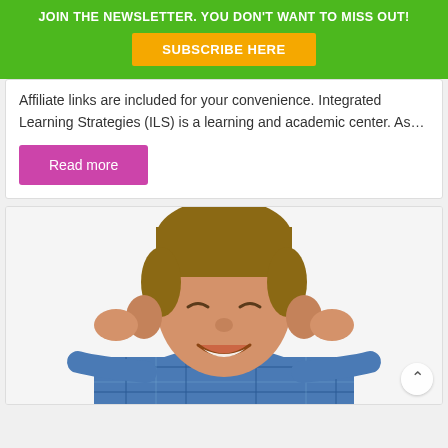JOIN THE NEWSLETTER. YOU DON'T WANT TO MISS OUT!
SUBSCRIBE HERE
Affiliate links are included for your convenience. Integrated Learning Strategies (ILS) is a learning and academic center. As…
Read more
[Figure (photo): Young boy in a blue plaid shirt smiling and pulling his ears outward with both hands, white background]